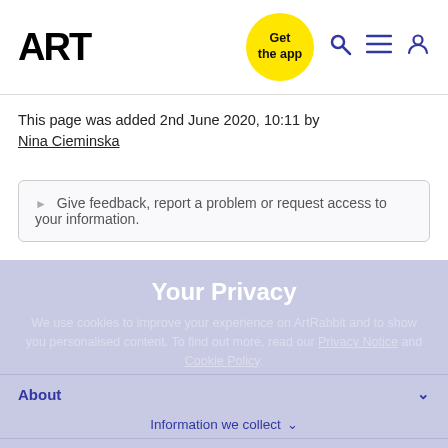ART | Get the app
This page was added 2nd June 2020, 10:11 by Nina Cieminska
▶ Give feedback, report a problem or request access to your information.
Your Privacy
We use cookies to improve your experience on ArtRabbit and to show you personalised content. To find out more, read our Privacy Notice and Cookie Policy.
About
Information we collect
What you can do
Plans & Pricing